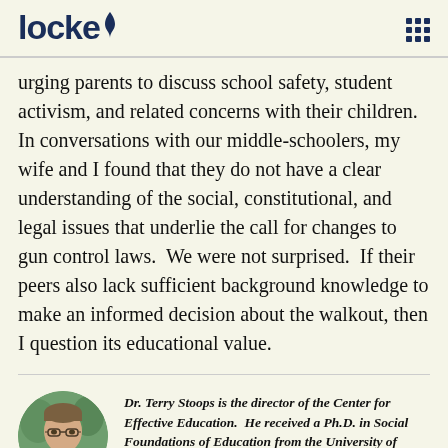locke
urging parents to discuss school safety, student activism, and related concerns with their children. In conversations with our middle-schoolers, my wife and I found that they do not have a clear understanding of the social, constitutional, and legal issues that underlie the call for changes to gun control laws.  We were not surprised.  If their peers also lack sufficient background knowledge to make an informed decision about the walkout, then I question its educational value.
[Figure (photo): Circular portrait photo of Dr. Terry Stoops, a man in a suit with glasses, arms crossed, with greenery in the background.]
Dr. Terry Stoops is the director of the Center for Effective Education.  He received a Ph.D. in Social Foundations of Education from the University of Virginia.